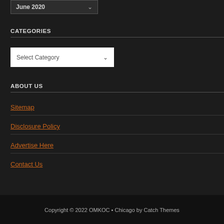June 2020
CATEGORIES
Select Category
ABOUT US
Sitemap
Disclosure Policy
Advertise Here
Contact Us
Copyright © 2022 OMKOC • Chicago by Catch Themes